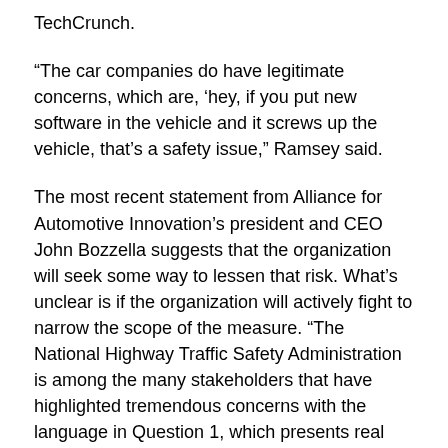TechCrunch.
“The car companies do have legitimate concerns, which are, ‘hey, if you put new software in the vehicle and it screws up the vehicle, that’s a safety issue,” Ramsey said.
The most recent statement from Alliance for Automotive Innovation’s president and CEO John Bozzella suggests that the organization will seek some way to lessen that risk. What’s unclear is if the organization will actively fight to narrow the scope of the measure. “The National Highway Traffic Safety Administration is among the many stakeholders that have highlighted tremendous concerns with the language in Question 1, which presents real risks to the security of our customers’ vehicles. These concerns remain,” Bozzella said in a statement. “Automakers have made available all the diagnostic and repair information that is needed to service a vehicle safely and securely. That consumer choice will not change. Moving forward, automakers will continue their work to protect our